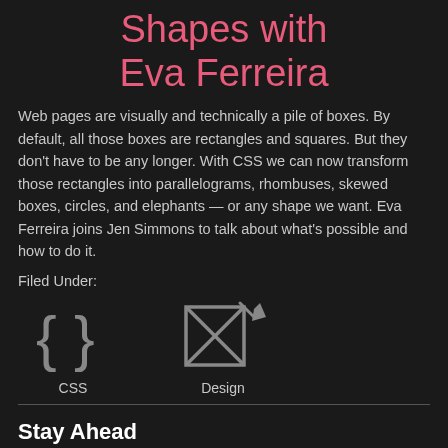Shapes with Eva Ferreira
Web pages are visually and technically a pile of boxes. By default, all those boxes are rectangles and squares. But they don't have to be any longer. With CSS we can now transform those rectangles into parallelograms, rhombuses, skewed boxes, circles, and elephants — or any shape we want. Eva Ferreira joins Jen Simmons to talk about what's possible and how to do it.
Filed Under:
[Figure (illustration): Icon of CSS curly braces { } with label CSS below]
[Figure (illustration): Icon of a design/layout grid symbol with a pencil, with label Design below]
Stay Ahead